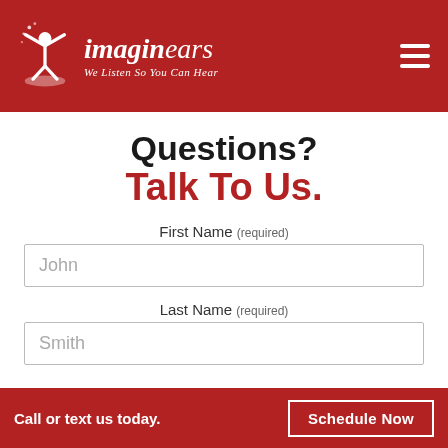[Figure (logo): Imaginears logo with figure graphic, company name 'imaginears' and tagline 'We Listen So You Can Hear' on dark red header background]
Questions? Talk To Us.
First Name (required)
John
Last Name (required)
Smith
Call or text us today.    Schedule Now